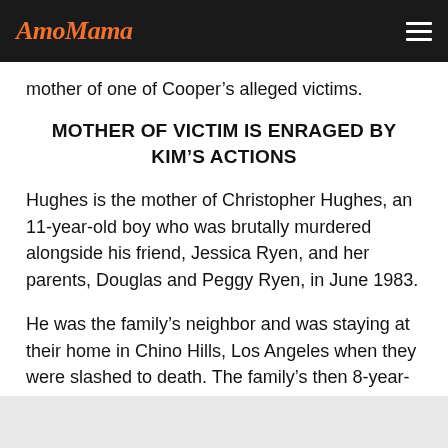AmoMama
mother of one of Cooper's alleged victims.
MOTHER OF VICTIM IS ENRAGED BY KIM'S ACTIONS
Hughes is the mother of Christopher Hughes, an 11-year-old boy who was brutally murdered alongside his friend, Jessica Ryen, and her parents, Douglas and Peggy Ryen, in June 1983.
He was the family's neighbor and was staying at their home in Chino Hills, Los Angeles when they were slashed to death. The family's then 8-year-old son survived the attack.